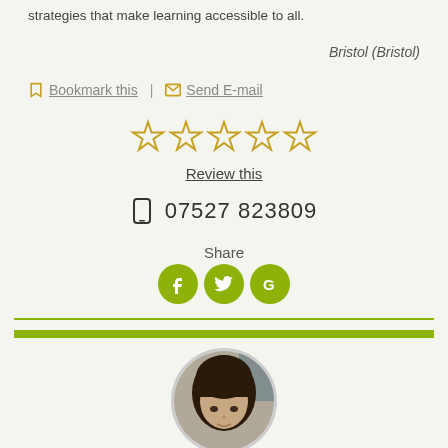strategies that make learning accessible to all.
Bristol (Bristol)
Bookmark this | Send E-mail
[Figure (other): Five empty star rating icons in a row]
Review this
07527 823809
Share
[Figure (other): Social share buttons: Facebook, Twitter, Google]
[Figure (photo): Profile photo of a woman with dark hair and fringe, circular crop]